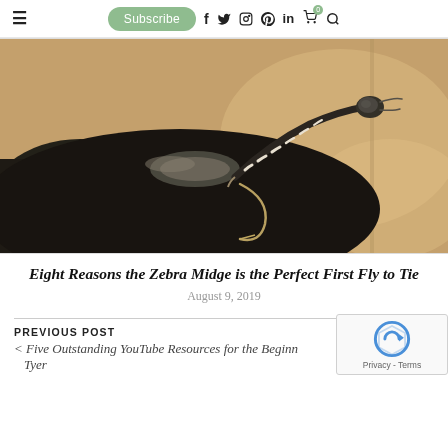☰  Subscribe  f  twitter  instagram  pinterest  in  cart(0)  search
[Figure (photo): Close-up macro photograph of a zebra midge fly fishing lure held in a vise, showing black and white striped pattern on the fly body with a hook, against a warm beige/tan blurred background.]
Eight Reasons the Zebra Midge is the Perfect First Fly to Tie
August 9, 2019
PREVIOUS POST
< Five Outstanding YouTube Resources for the Beginning Fly Tyer